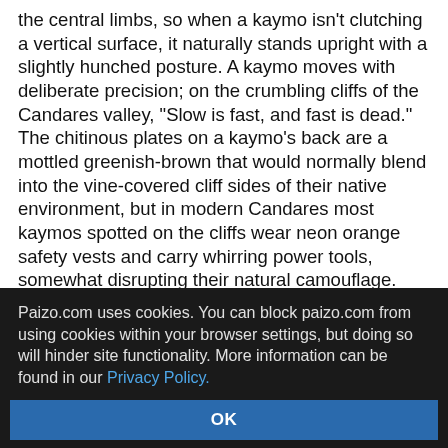the central limbs, so when a kaymo isn't clutching a vertical surface, it naturally stands upright with a slightly hunched posture. A kaymo moves with deliberate precision; on the crumbling cliffs of the Candares valley, "Slow is fast, and fast is dead." The chitinous plates on a kaymo's back are a mottled greenish-brown that would normally blend into the vine-covered cliff sides of their native environment, but in modern Candares most kaymos spotted on the cliffs wear neon orange safety vests and carry whirring power tools, somewhat disrupting their natural camouflage. The lines of a kaymo's face are almost disturbingly humanoid, with four small mandibles forming something akin to a humanoid jawline and two large, black compound eyes that even some kaymos admit share a strange
Paizo.com uses cookies. You can block paizo.com from using cookies within your browser settings, but doing so will hinder site functionality. More information can be found in our Privacy Policy.
OK